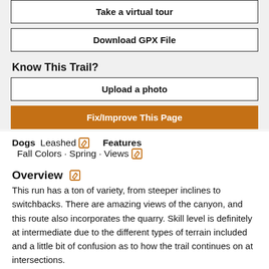Take a virtual tour
Download GPX File
Know This Trail?
Upload a photo
Fix/Improve This Page
Dogs  Leashed    Features  Fall Colors · Spring · Views
Overview
This run has a ton of variety, from steeper inclines to switchbacks. There are amazing views of the canyon, and this route also incorporates the quarry. Skill level is definitely at intermediate due to the different types of terrain included and a little bit of confusion as to how the trail continues on at intersections.
Need to Know
Parking can get limited after early morning traffic fills up. Get here early.
Description
Show More